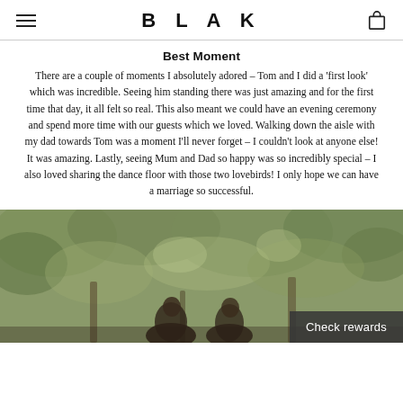BLAK
Best Moment
There are a couple of moments I absolutely adored – Tom and I did a 'first look' which was incredible. Seeing him standing there was just amazing and for the first time that day, it all felt so real. This also meant we could have an evening ceremony and spend more time with our guests which we loved. Walking down the aisle with my dad towards Tom was a moment I'll never forget – I couldn't look at anyone else! It was amazing. Lastly, seeing Mum and Dad so happy was so incredibly special – I also loved sharing the dance floor with those two lovebirds! I only hope we can have a marriage so successful.
[Figure (photo): A couple photographed outdoors among trees and foliage, with a 'Check rewards' button overlay in the bottom right corner.]